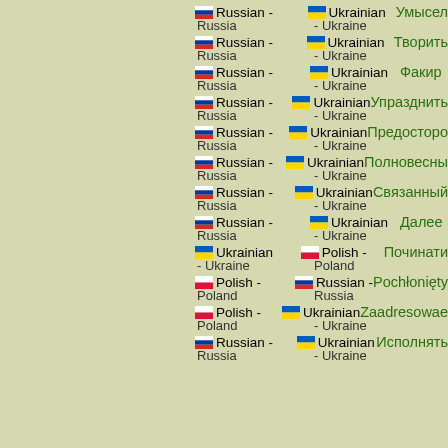Russian - Russia | Ukrainian - Ukraine | Умысел
Russian - Russia | Ukrainian - Ukraine | Творить
Russian - Russia | Ukrainian - Ukraine | Факир
Russian - Russia | Ukrainian - Ukraine | Упразднить
Russian - Russia | Ukrainian - Ukraine | Предосторо…
Russian - Russia | Ukrainian - Ukraine | Полновесны…
Russian - Russia | Ukrainian - Ukraine | Связанный
Russian - Russia | Ukrainian - Ukraine | Далее
Ukrainian - Ukraine | Polish - Poland | Починати
Polish - Poland | Russian - Russia | Pochłonięty
Polish - Poland | Ukrainian - Ukraine | Zaadresowae…
Russian - Russia | Ukrainian - Ukraine | Исполнять